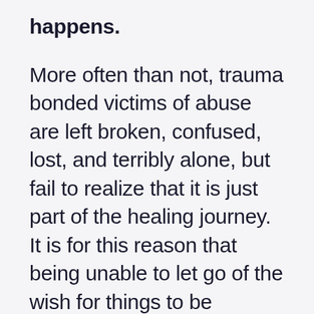happens.
More often than not, trauma bonded victims of abuse are left broken, confused, lost, and terribly alone, but fail to realize that it is just part of the healing journey. It is for this reason that being unable to let go of the wish for things to be different by refusing to acknowledge that what you're experiencing is abuse, and deciding to give the abusive relationship another chance can make trauma bonded